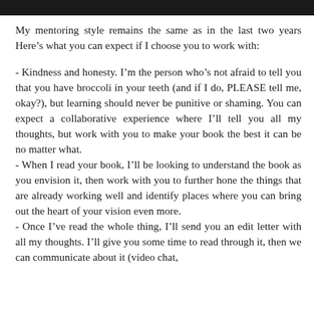My mentoring style remains the same as in the last two years Here’s what you can expect if I choose you to work with:
- Kindness and honesty. I’m the person who’s not afraid to tell you that you have broccoli in your teeth (and if I do, PLEASE tell me, okay?), but learning should never be punitive or shaming. You can expect a collaborative experience where I’ll tell you all my thoughts, but work with you to make your book the best it can be no matter what.
- When I read your book, I’ll be looking to understand the book as you envision it, then work with you to further hone the things that are already working well and identify places where you can bring out the heart of your vision even more.
- Once I’ve read the whole thing, I’ll send you an edit letter with all my thoughts. I’ll give you some time to read through it, then we can communicate about it (video chat,